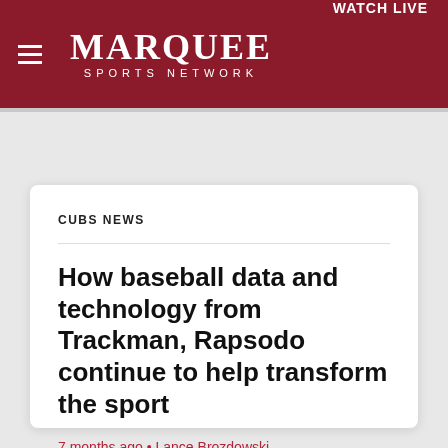MARQUEE SPORTS NETWORK   WATCH LIVE
CUBS NEWS
How baseball data and technology from Trackman, Rapsodo continue to help transform the sport
7 months ago • Lance Brozdowski